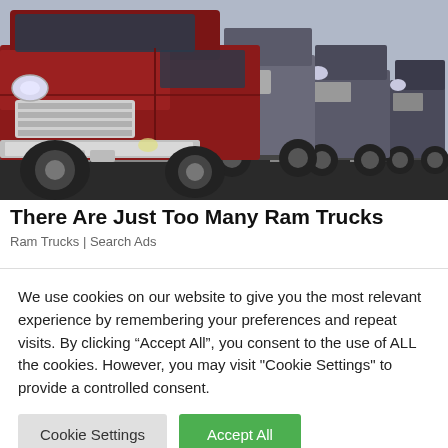[Figure (photo): A row of Ram trucks lined up at a dealership lot, showing a prominent red truck in the foreground and multiple silver/dark trucks receding into the background. Chrome grilles and headlights are visible.]
There Are Just Too Many Ram Trucks
Ram Trucks | Search Ads
We use cookies on our website to give you the most relevant experience by remembering your preferences and repeat visits. By clicking “Accept All”, you consent to the use of ALL the cookies. However, you may visit "Cookie Settings" to provide a controlled consent.